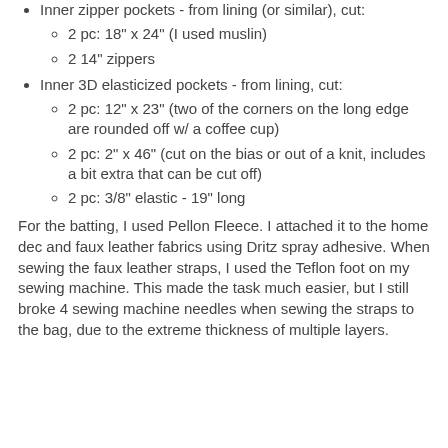Inner zipper pockets - from lining (or similar), cut:
2 pc: 18" x 24" (I used muslin)
2 14" zippers
Inner 3D elasticized pockets - from lining, cut:
2 pc: 12" x 23" (two of the corners on the long edge are rounded off w/ a coffee cup)
2 pc: 2" x 46" (cut on the bias or out of a knit, includes a bit extra that can be cut off)
2 pc: 3/8" elastic - 19" long
For the batting, I used Pellon Fleece. I attached it to the home dec and faux leather fabrics using Dritz spray adhesive. When sewing the faux leather straps, I used the Teflon foot on my sewing machine. This made the task much easier, but I still broke 4 sewing machine needles when sewing the straps to the bag, due to the extreme thickness of multiple layers.